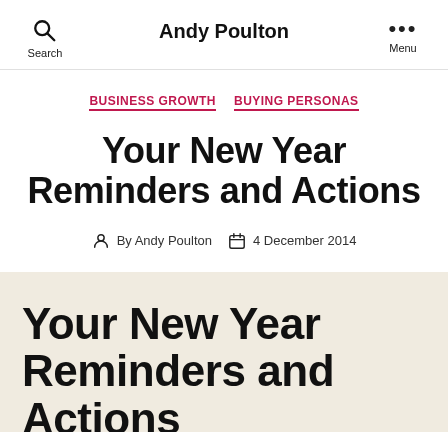Andy Poulton
BUSINESS GROWTH   BUYING PERSONAS
Your New Year Reminders and Actions
By Andy Poulton   4 December 2014
Your New Year Reminders and Actions